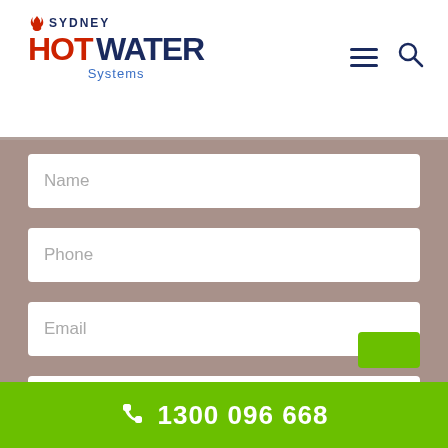[Figure (logo): Sydney Hot Water Systems logo with flame icon, red HOT and navy WATER text, blue Systems subtitle]
[Figure (illustration): Hamburger menu icon (three horizontal lines) and search magnifying glass icon in navy blue]
Name
Phone
Email
Suburb
Message
1300 096 668